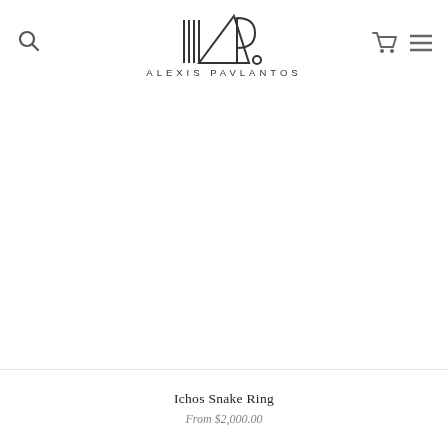ALEXIS PAVLANTOS
[Figure (photo): Product photo area — white/blank image for Ichos Snake Ring jewelry product]
Ichos Snake Ring
From $2,000.00